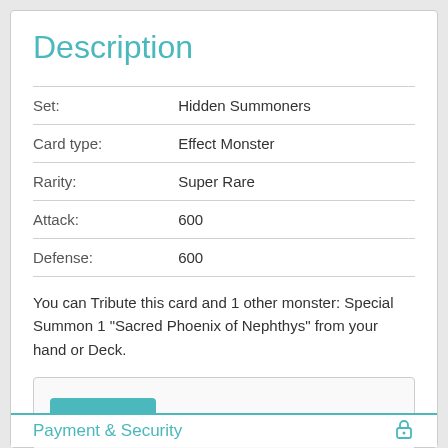Description
| Property | Value |
| --- | --- |
| Set: | Hidden Summoners |
| Card type: | Effect Monster |
| Rarity: | Super Rare |
| Attack: | 600 |
| Defense: | 600 |
You can Tribute this card and 1 other monster: Special Summon 1 "Sacred Phoenix of Nephthys" from your hand or Deck.
Payment & Security